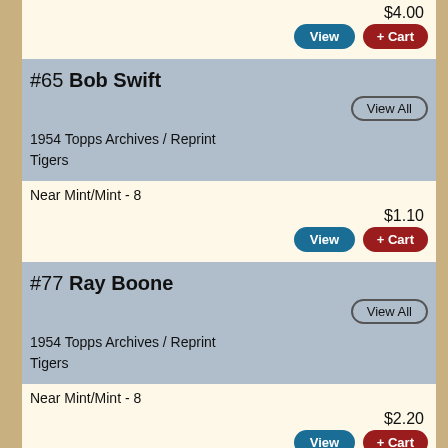$4.00
View | + Cart
#65 Bob Swift
View All
1954 Topps Archives / Reprint
Tigers
Near Mint/Mint - 8
$1.10
View | + Cart
#77 Ray Boone
View All
1954 Topps Archives / Reprint
Tigers
Near Mint/Mint - 8
$2.20
View | + Cart
Autograph
$25.00
View | + Cart